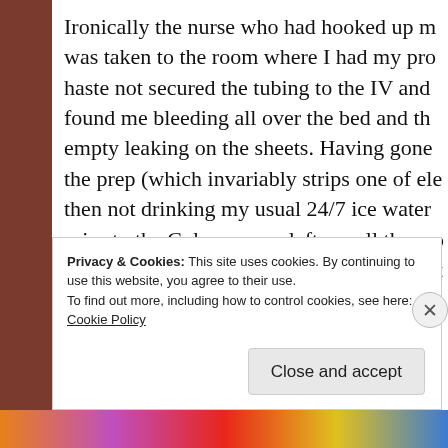Ironically the nurse who had hooked up m was taken to the room where I had my pro haste not secured the tubing to the IV and found me bleeding all over the bed and th empty leaking on the sheets. Having gone the prep (which invariably strips one of ele then not drinking my usual 24/7 ice water prior to the Colonoscopy left me all the mo the Saline I could get. I had to fight to get in recovery for the last bag to finish becau a rush to hurry me out the door and to fill
Privacy & Cookies: This site uses cookies. By continuing to use this website, you agree to their use. To find out more, including how to control cookies, see here: Cookie Policy
Close and accept